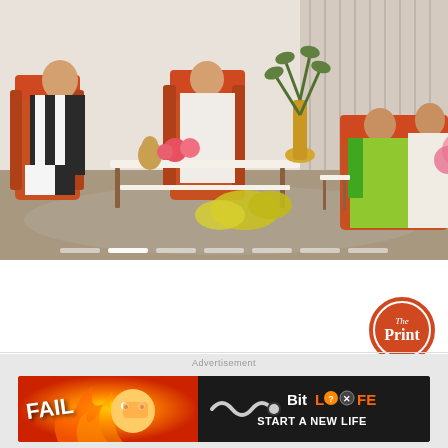[Figure (photo): Group photo of political figures seated in a formal meeting room with orange chairs and sofas, a coffee table with flowers, and a decorative plant in the background. Five people visible including a man in a dark vest on the left and a woman in a green saree on the right side.]
[Figure (logo): The Print circular logo in orange and white]
[Figure (photo): BitLife advertisement banner with FAIL text and flame graphics on left, BitLife START A NEW LIFE text on dark background on right]